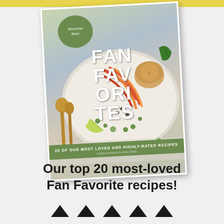[Figure (illustration): Book cover for 'Fan Favorites' by Minimalist Baker — showing a colorful vegetable dish on a plate with wooden spoons, green circle logo, title text 'FAN FAVORITES', and green banner reading '20 OF OUR MOST LOVED AND HIGHLY-RATED RECIPES']
Our top 20 most-loved Fan Favorite recipes!
[Figure (illustration): Row of five black upward-pointing triangles/arrows decorating the bottom of the page]